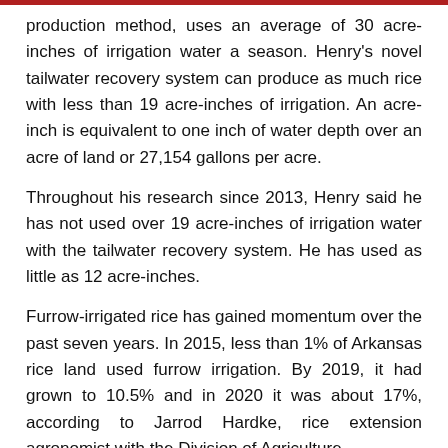production method, uses an average of 30 acre-inches of irrigation water a season. Henry's novel tailwater recovery system can produce as much rice with less than 19 acre-inches of irrigation. An acre-inch is equivalent to one inch of water depth over an acre of land or 27,154 gallons per acre.
Throughout his research since 2013, Henry said he has not used over 19 acre-inches of irrigation water with the tailwater recovery system. He has used as little as 12 acre-inches.
Furrow-irrigated rice has gained momentum over the past seven years. In 2015, less than 1% of Arkansas rice land used furrow irrigation. By 2019, it had grown to 10.5% and in 2020 it was about 17%, according to Jarrod Hardke, rice extension agronomist with the Division of Agriculture.
Henry said water conservation is an increasingly important issue as fresh groundwater becomes less abundant.